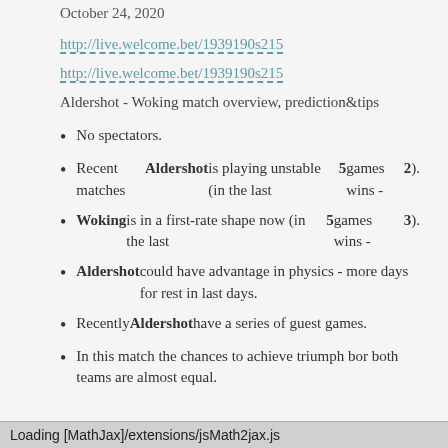October 24, 2020
http://live.welcome.bet/1939190s215
http://live.welcome.bet/1939190s215
Aldershot - Woking match overview, prediction&tips
No spectators.
Recent matches Aldershot is playing unstable (in the last 5 games wins - 2).
Woking is in a first-rate shape now (in the last 5 games wins - 3).
Aldershot could have advantage in physics - more days for rest in last days.
Recently Aldershot have a series of guest games.
In this match the chances to achieve triumph bor both teams are almost equal.
Loading [MathJax]/extensions/jsMath2jax.js